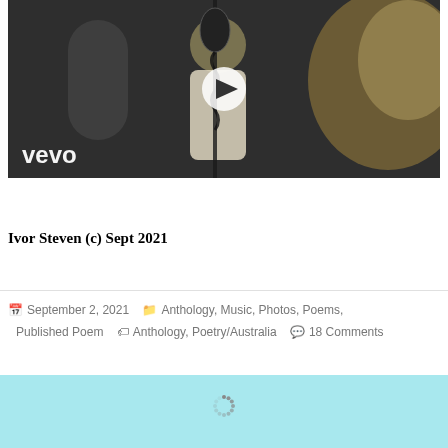[Figure (screenshot): Video thumbnail showing a young woman singing into a microphone in a recording studio, wearing a white dress and headphones, with a Vevo logo in the bottom-left and a play button overlay in the center.]
Ivor Steven (c) Sept 2021
September 2, 2021  Anthology, Music, Photos, Poems, Published Poem  Anthology, Poetry/Australia  18 Comments